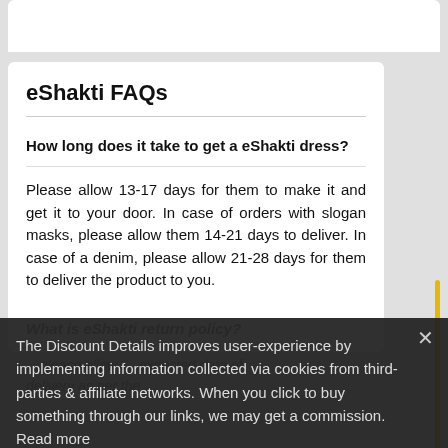eShakti FAQs
How long does it take to get a eShakti dress?
Please allow 13-17 days for them to make it and get it to your door. In case of orders with slogan masks, please allow them 14-21 days to deliver. In case of a denim, please allow 21-28 days for them to deliver the product to you.
What is eShakti return policy?
The Discount Details improves user-experience by implementing information collected via cookies from third-parties & affiliate networks. When you click to buy something through our links, we may get a commission. Read more